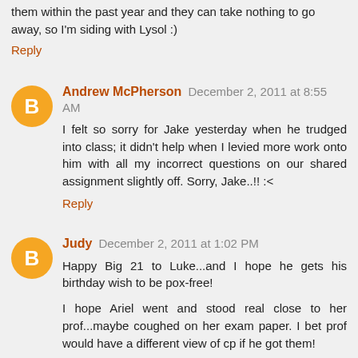them within the past year and they can take nothing to go away, so I'm siding with Lysol :)
Reply
Andrew McPherson  December 2, 2011 at 8:55 AM
I felt so sorry for Jake yesterday when he trudged into class; it didn't help when I levied more work onto him with all my incorrect questions on our shared assignment slightly off. Sorry, Jake..!! :<
Reply
Judy  December 2, 2011 at 1:02 PM
Happy Big 21 to Luke...and I hope he gets his birthday wish to be pox-free!
I hope Ariel went and stood real close to her prof...maybe coughed on her exam paper. I bet prof would have a different view of cp if he got them!